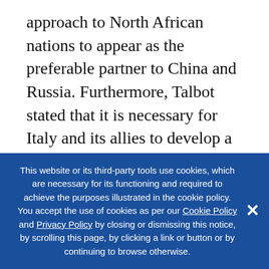approach to North African nations to appear as the preferable partner to China and Russia. Furthermore, Talbot stated that it is necessary for Italy and its allies to develop a more coherent policy in the North African region, working to advance their goals in cooperation with North African nations.

While Jhinaoui agreed with the necessity of transatlantic cooperation, he contended that transatlantic allies must tailor their policy in the region to meet the specific needs of each country,
This website or its third-party tools use cookies, which are necessary for its functioning and required to achieve the purposes illustrated in the cookie policy. You accept the use of cookies as per our Cookie Policy and Privacy Policy by closing or dismissing this notice, by scrolling this page, by clicking a link or button or by continuing to browse otherwise.